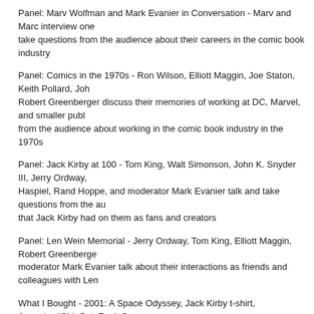Panel: Marv Wolfman and Mark Evanier in Conversation - Marv and Marc interview one another and take questions from the audience about their careers in the comic book industry
Panel: Comics in the 1970s - Ron Wilson, Elliott Maggin, Joe Staton, Keith Pollard, John ... Robert Greenberger discuss their memories of working at DC, Marvel, and smaller publ... from the audience about working in the comic book industry in the 1970s
Panel: Jack Kirby at 100 - Tom King, Walt Simonson, John K. Snyder III, Jerry Ordway, ... Haspiel, Rand Hoppe, and moderator Mark Evanier talk and take questions from the au... that Jack Kirby had on them as fans and creators
Panel: Len Wein Memorial - Jerry Ordway, Tom King, Elliott Maggin, Robert Greenberge... moderator Mark Evanier talk about their interactions as friends and colleagues with Len
What I Bought - 2001: A Space Odyssey, Jack Kirby t-shirt, ApocalyptiGirl, Sgt. Rock Sp...
Cover Art: Baltimore Comic Con 2017 Program Guide by Jamar Nicholas
[65:57] - Download Episode 145 - RSS Feed - iTunes - Facebook - Stitcher
Direct download: DTC145.mp3
Category:podcast -- posted at: 8:00am EDT